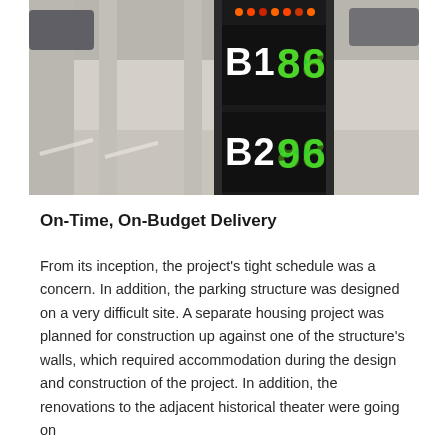[Figure (photo): Photo of a parking garage interior showing a digital display sign with LED indicators showing 'B1' and 'B2' levels with green and amber digit displays, parking spaces visible on a light-colored floor in the background]
On-Time, On-Budget Delivery
From its inception, the project's tight schedule was a concern. In addition, the parking structure was designed on a very difficult site. A separate housing project was planned for construction up against one of the structure's walls, which required accommodation during the design and construction of the project. In addition, the renovations to the adjacent historical theater were going on